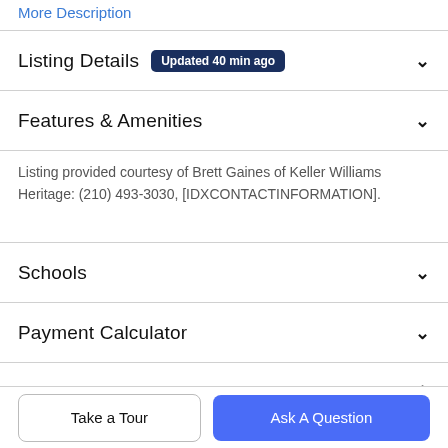More Description
Listing Details Updated 40 min ago
Features & Amenities
Listing provided courtesy of Brett Gaines of Keller Williams Heritage: (210) 493-3030, [IDXCONTACTINFORMATION].
Schools
Payment Calculator
Contact Agent
Take a Tour
Ask A Question